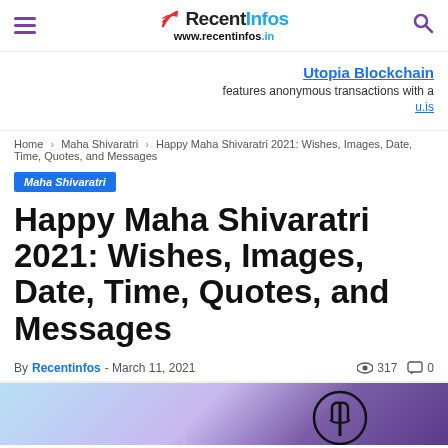RecentInfos — www.recentinfos.in
[Figure (other): Utopia Blockchain advertisement: 'Utopia Blockchain features anonymous transactions with u.is']
Home › Maha Shivaratri › Happy Maha Shivaratri 2021: Wishes, Images, Date, Time, Quotes, and Messages
Maha Shivaratri
Happy Maha Shivaratri 2021: Wishes, Images, Date, Time, Quotes, and Messages
By Recentinfos - March 11, 2021 · 317 views · 0 comments
[Figure (photo): Bottom strip showing Maha Shivaratri themed image with blue sky, Shiva trident symbol on dark background]